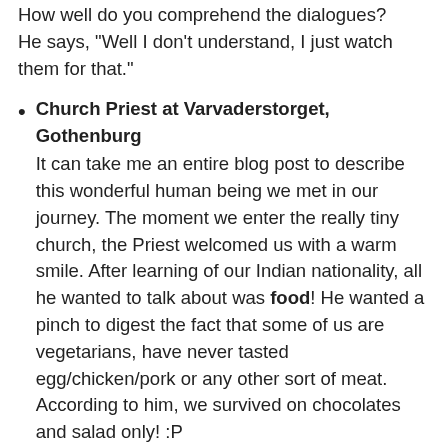How well do you comprehend the dialogues? He says, "Well I don't understand, I just watch them for that."
Church Priest at Varvaderstorget, Gothenburg
It can take me an entire blog post to describe this wonderful human being we met in our journey. The moment we enter the really tiny church, the Priest welcomed us with a warm smile. After learning of our Indian nationality, all he wanted to talk about was food! He wanted a pinch to digest the fact that some of us are vegetarians, have never tasted egg/chicken/pork or any other sort of meat. According to him, we survived on chocolates and salad only! :P
We invited him on lunch thrice during our stay and finally he accepted that a vegan diet can be delicious too! He totally fell in love with our puris, parathas and laddoos ("really very sweet candies" as he would call them.)
Random lady next door in JohannesburgSouth